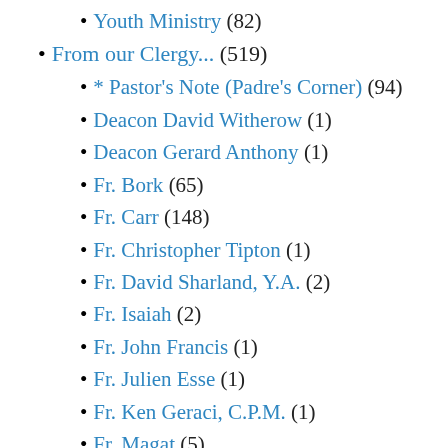Youth Ministry (82)
From our Clergy... (519)
* Pastor's Note (Padre's Corner) (94)
Deacon David Witherow (1)
Deacon Gerard Anthony (1)
Fr. Bork (65)
Fr. Carr (148)
Fr. Christopher Tipton (1)
Fr. David Sharland, Y.A. (2)
Fr. Isaiah (2)
Fr. John Francis (1)
Fr. Julien Esse (1)
Fr. Ken Geraci, C.P.M. (1)
Fr. Magat (5)
Fr. Mode (1)
Fr. Peter (25)